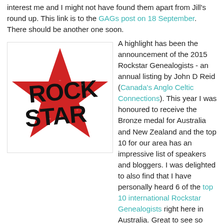interest me and I might not have found them apart from Jill's round up. This link is to the GAGs post on 18 September. There should be another one soon.
[Figure (logo): Rock Star logo: bold black text 'ROCK STAR' overlaid on a large red star shape, distressed/grunge style.]
A highlight has been the announcement of the 2015 Rockstar Genealogists - an annual listing by John D Reid (Canada's Anglo Celtic Connections). This year I was honoured to receive the Bronze medal for Australia and New Zealand and the top 10 for our area has an impressive list of speakers and bloggers. I was delighted to also find that I have personally heard 6 of the top 10 international Rockstar Genealogists right here in Australia. Great to see so many of them now travelling downunder. The Australia/New Zealand top 10 are here. Congratulations to everyone who made the top 10 lists and